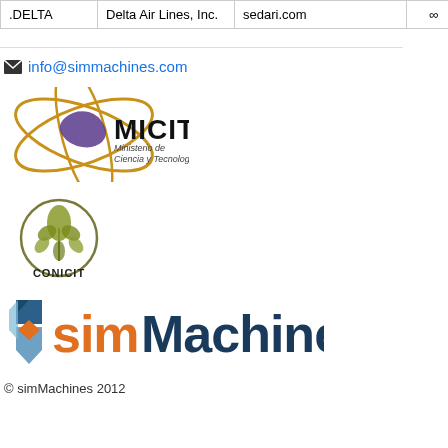| .DELTA | Delta Air Lines, Inc. | sedari.com | ∞ | Compar... |
| --- | --- | --- | --- | --- |
| .DELTA | Delta Air
Lines, Inc. | sedari.com | ∞ | Compar... |
info@simmachines.com
[Figure (logo): MICIT - Ministerio de Ciencia y Tecnología logo with orbiting rings around a map of Costa Rica]
[Figure (logo): CONICIT logo - circular emblem with stylized plant/flower design]
[Figure (logo): simMachines logo - blue shield icon with orange accent and simMachines text in orange and dark blue]
© simMachines 2012